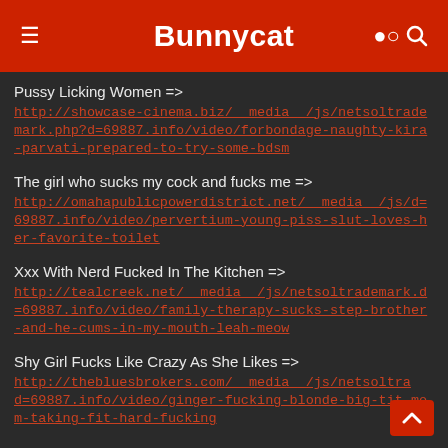Bunnycat
Pussy Licking Women => http://showcase-cinema.biz/__media__/js/netsoltrademark.php?d=69887.info/video/forbondage-naughty-kira-parvati-prepared-to-try-some-bdsm
The girl who sucks my cock and fucks me => http://omahapublicpowerdistrict.net/__media__/js/d=69887.info/video/pervertium-young-piss-slut-loves-her-favorite-toilet
Xxx With Nerd Fucked In The Kitchen => http://tealcreek.net/__media__/js/netsoltrademark.d=69887.info/video/family-therapy-sucks-step-brother-and-he-cums-in-my-mouth-leah-meow
Shy Girl Fucks Like Crazy As She Likes => http://thebluesbrokers.com/__media__/js/netsoltra d=69887.info/video/ginger-fucking-blonde-big-tit-mom-taking-fit-hard-fucking